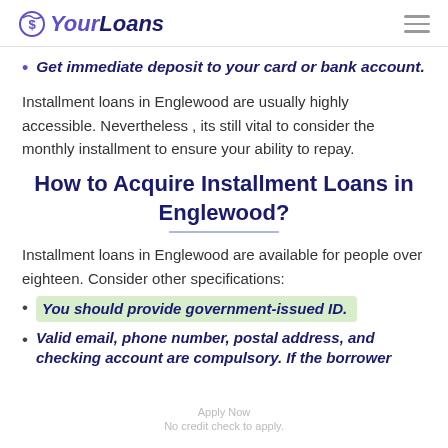YourLoans
Get immediate deposit to your card or bank account.
Installment loans in Englewood are usually highly accessible. Nevertheless , its still vital to consider the monthly installment to ensure your ability to repay.
How to Acquire Installment Loans in Englewood?
Installment loans in Englewood are available for people over eighteen. Consider other specifications:
You should provide government-issued ID.
Valid email, phone number, postal address, and checking account are compulsory. If the borrower